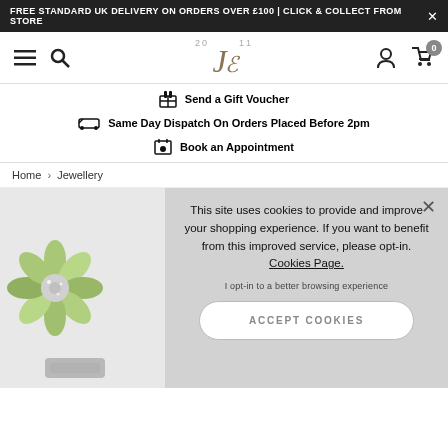FREE STANDARD UK DELIVERY ON ORDERS OVER £100 | CLICK & COLLECT FROM STORE
[Figure (screenshot): Navigation bar with hamburger menu, search icon, JE jewellery logo, person icon, and cart icon with badge 0]
Send a Gift Voucher
Same Day Dispatch On Orders Placed Before 2pm
Book an Appointment
Home › Jewellery
This site uses cookies to provide and improve your shopping experience. If you want to benefit from this improved service, please opt-in. Cookies Page.

I opt-in to a better browsing experience

ACCEPT COOKIES
[Figure (photo): Green flower-shaped jewellery charm with crystals]